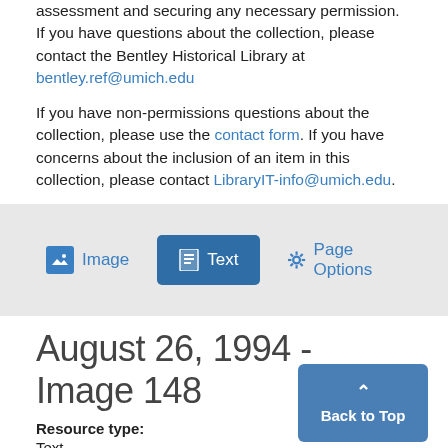assessment and securing any necessary permission. If you have questions about the collection, please contact the Bentley Historical Library at bentley.ref@umich.edu
If you have non-permissions questions about the collection, please use the contact form. If you have concerns about the inclusion of an item in this collection, please contact LibraryIT-info@umich.edu.
[Figure (screenshot): Navigation bar with three buttons: Image (mountain icon), Text (document icon, active/selected in dark blue), and Page Options (gear icon)]
August 26, 1994 - Image 148
Resource type: Text
Publication: